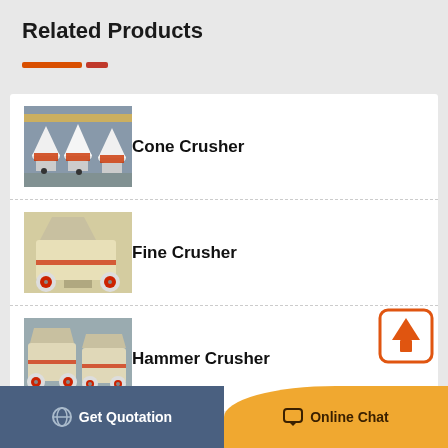Related Products
Cone Crusher
[Figure (photo): Photo of Cone Crusher machines in a factory setting, multiple white cone-shaped crushers with orange accents on a production floor]
Fine Crusher
[Figure (photo): Photo of a Fine Crusher machine, beige/cream colored industrial crusher with red accent rings on wheels]
Hammer Crusher
[Figure (photo): Photo of Hammer Crusher machines, two beige crushers with red wheel accents in an industrial setting]
Get Quotation   Online Chat